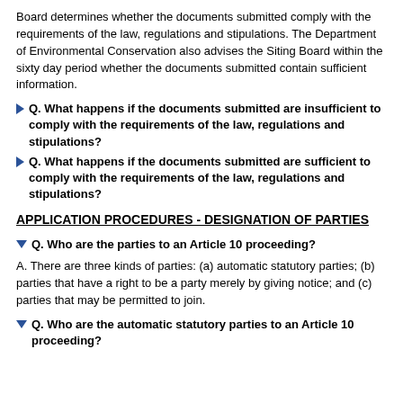Board determines whether the documents submitted comply with the requirements of the law, regulations and stipulations. The Department of Environmental Conservation also advises the Siting Board within the sixty day period whether the documents submitted contain sufficient information.
Q. What happens if the documents submitted are insufficient to comply with the requirements of the law, regulations and stipulations?
Q. What happens if the documents submitted are sufficient to comply with the requirements of the law, regulations and stipulations?
APPLICATION PROCEDURES - DESIGNATION OF PARTIES
Q. Who are the parties to an Article 10 proceeding?
A. There are three kinds of parties: (a) automatic statutory parties; (b) parties that have a right to be a party merely by giving notice; and (c) parties that may be permitted to join.
Q. Who are the automatic statutory parties to an Article 10 proceeding?